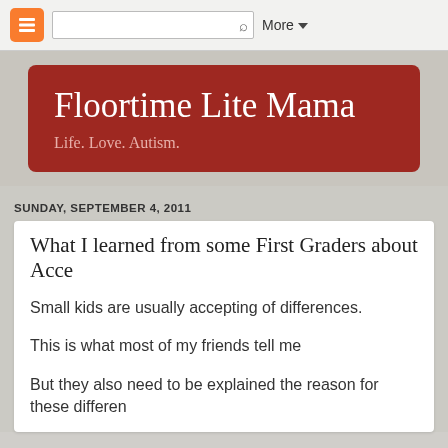More
Floortime Lite Mama
Life. Love. Autism.
SUNDAY, SEPTEMBER 4, 2011
What I learned from some First Graders about Acce
Small kids are usually accepting of differences.
This is what most of my friends tell me
But they also need to be explained the reason for these differen